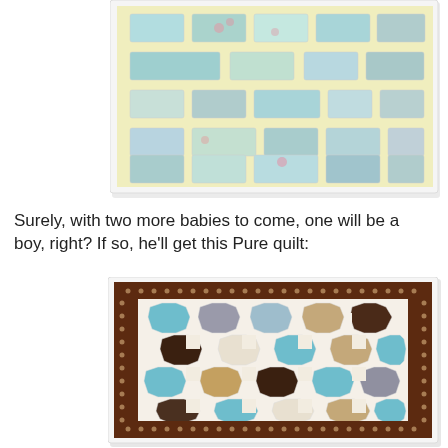[Figure (photo): Top-down photo of a yellow baby quilt with rectangular fabric patches in light blue, teal floral, and pink floral patterns arranged in a grid on a pale yellow background.]
Surely, with two more babies to come, one will be a boy, right? If so, he'll get this Pure quilt:
[Figure (photo): Photo of a patchwork quilt with a brown polka-dot border, featuring octagon and square patches in teal, brown, tan, cream, and dark chocolate colors in a geometric pattern.]